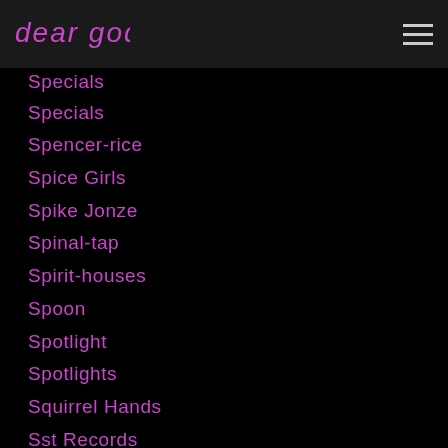dear god
Specials
Spencer-rice
Spice Girls
Spike Jonze
Spinal-tap
Spirit-houses
Spoon
Spotlight
Spotlights
Squirrel Hands
Sst Records
Sst-records
Stacy Peralta
Stanley Cortez
Stanley Kubrick
Staples-singers